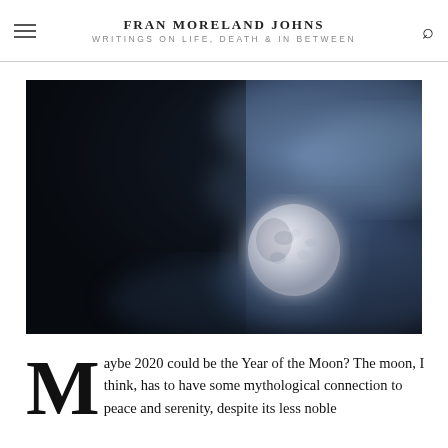FRAN MORELAND JOHNS | WRITINGS ON LIFE, DEATH & IN BETWEEN
[Figure (photo): A full moon partially obscured by dark misty clouds against a deep blue-black night sky.]
Maybe 2020 could be the Year of the Moon? The moon, I think, has to have some mythological connection to peace and serenity, despite its less noble